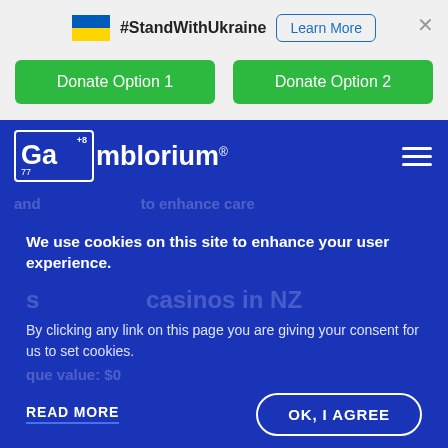[Figure (infographic): Ukraine flag icon (blue and yellow)]
#StandWithUkraine
Learn More
×
Donate Option 1
Donate Option 2
[Figure (logo): Gamblorium logo — periodic-table style box with Ga, +8, 77, followed by mblorium® wordmark]
We use cookies on this site to enhance your user experience.
By clicking any link on this page you are giving your consent for us to set cookies.
READ MORE
OK, I AGREE
gambling, fees and enjoying great games directly online
lots of fun and entertainment, so it's not surprising that the number of gambling fans is constantly growing. However,